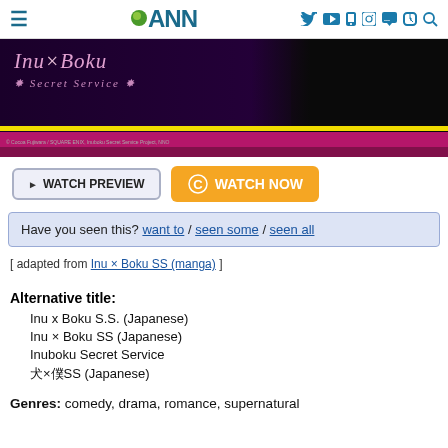ANN
[Figure (illustration): Inu x Boku Secret Service anime banner with character artwork on dark purple/black background with yellow and pink bars at bottom]
WATCH PREVIEW | WATCH NOW
Have you seen this? want to / seen some / seen all
[ adapted from Inu × Boku SS (manga) ]
Alternative title:
Inu x Boku S.S. (Japanese)
Inu × Boku SS (Japanese)
Inuboku Secret Service
犬×僕SS (Japanese)
Genres: comedy, drama, romance, supernatural